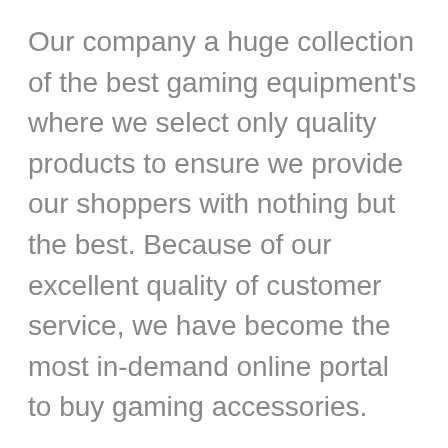Our company a huge collection of the best gaming equipment's where we select only quality products to ensure we provide our shoppers with nothing but the best. Because of our excellent quality of customer service, we have become the most in-demand online portal to buy gaming accessories.
Gaming accessories at low prices
Gaming accessories could be expensive,